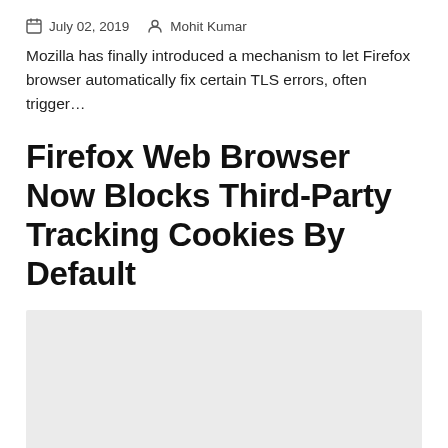July 02, 2019   Mohit Kumar
Mozilla has finally introduced a mechanism to let Firefox browser automatically fix certain TLS errors, often trigger…
Firefox Web Browser Now Blocks Third-Party Tracking Cookies By Default
[Figure (other): Light grey rectangular image placeholder area below the article title]